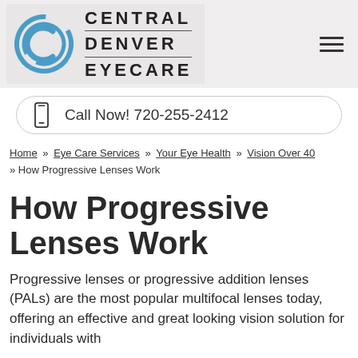[Figure (logo): Central Denver Eyecare logo with circular C icon and text CENTRAL DENVER EYECARE]
Call Now! 720-255-2412
Home » Eye Care Services » Your Eye Health » Vision Over 40 » How Progressive Lenses Work
How Progressive Lenses Work
Progressive lenses or progressive addition lenses (PALs) are the most popular multifocal lenses today, offering an effective and great looking vision solution for individuals with